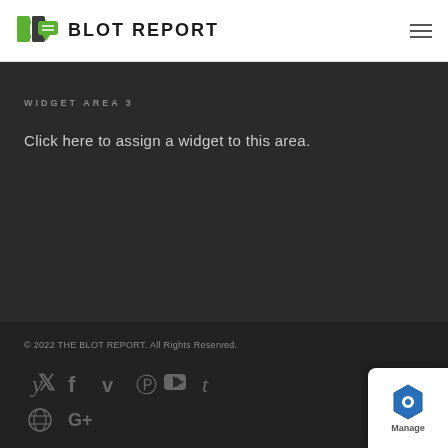BLOT REPORT
WIDGET AREA 3
Click here to assign a widget to this area.
© 2022 THE BLOT REPORT. All Rights Reserved.
[Figure (infographic): Social media icons row 1: Twitter, Facebook, Vimeo, Pinterest, YouTube, Tumblr; row 2: Dribbble, Google+]
[Figure (logo): Manage badge with hexagon logo icon in bottom-right corner]